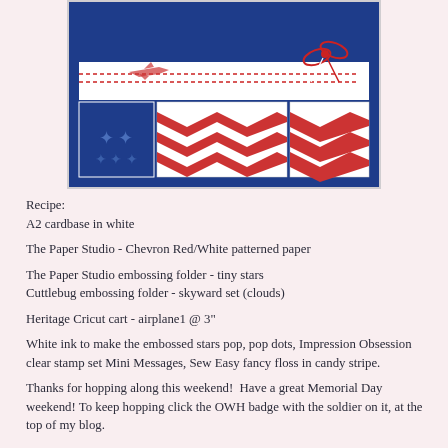[Figure (photo): A handmade card with blue, red and white patriotic design featuring chevron patterned paper, embossed stars, a small airplane cutout, and red/white candy stripe floss tied in a bow. The card is displayed on a light pink background with a white border frame.]
Recipe:
A2 cardbase in white
The Paper Studio - Chevron Red/White patterned paper
The Paper Studio embossing folder - tiny stars
Cuttlebug embossing folder - skyward set (clouds)
Heritage Cricut cart - airplane1 @ 3"
White ink to make the embossed stars pop, pop dots, Impression Obsession clear stamp set Mini Messages, Sew Easy fancy floss in candy stripe.
Thanks for hopping along this weekend!  Have a great Memorial Day weekend! To keep hopping click the OWH badge with the soldier on it, at the top of my blog.